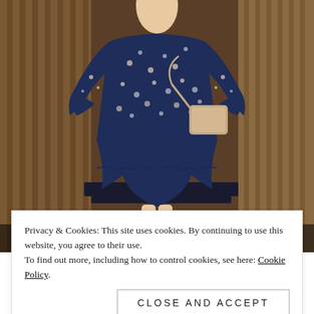[Figure (photo): A woman wearing a navy blue floral long-sleeve dress with ruffle hem detail, holding a tan crossbody bag, standing outdoors in front of a wooden structure. The image is cropped and partially obscured by a cookie consent banner. At the bottom of the image, large white bold text starts to appear reading 'WINTER WEATHER'.]
Privacy & Cookies: This site uses cookies. By continuing to use this website, you agree to their use.
To find out more, including how to control cookies, see here: Cookie Policy
Close and accept